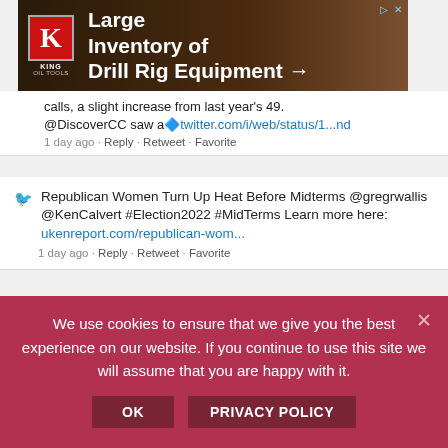[Figure (other): King Oil Tools advertisement banner: Large Inventory of Drill Rig Equipment →]
calls, a slight increase from last year's 49. @DiscoverCC saw a🔷twitter.com/i/web/status/1...nd
1 day ago · Reply · Retweet · Favorite
Republican Women Turn Up Heat Before Midterms @gregrwallis @KenCalvert #Election2022 #MidTerms Learn more here: ukenreport.com/republican-wom...
1 day ago · Reply · Retweet · Favorite
There have been 94,047 #COVID19 deaths in #California since the start of the disease beginning...
We use cookies to ensure that we give you the best experience on our website. If you continue to use this site we will assume that you are happy with it.
OK   PRIVACY POLICY